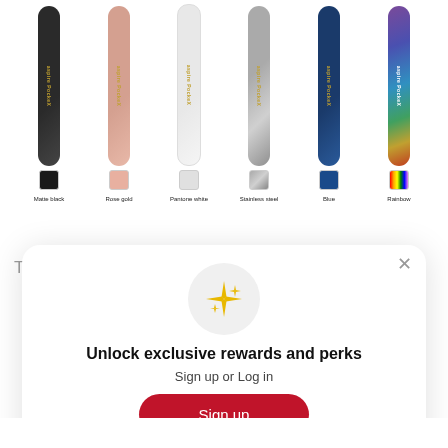[Figure (photo): Six Aspire Pockex vape pens in different colors: Matte black, Rose gold, Pantone white, Stainless steel, Blue, Rainbow. Each pen is shown vertically with a color swatch below and a label.]
The Pockex utilises Aspire's U-Tech coil technology,
[Figure (screenshot): A modal popup overlay with a sparkle/star icon in a light grey circle, bold text 'Unlock exclusive rewards and perks', subtext 'Sign up or Log in', a red 'Sign up' button, and a line 'Already have an account? Sign in'. A close (×) button is in the top right corner.]